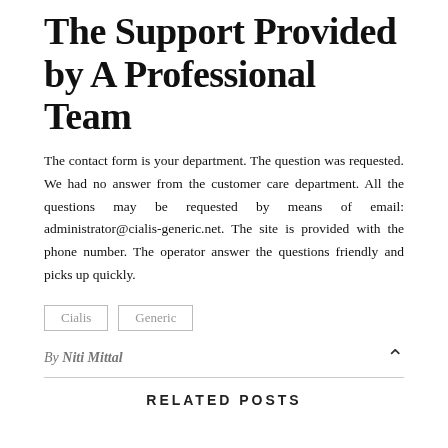The Support Provided by A Professional Team
The contact form is your department. The question was requested. We had no answer from the customer care department. All the questions may be requested by means of email: administrator@cialis-generic.net. The site is provided with the phone number. The operator answer the questions friendly and picks up quickly.
Cialis
Generic
By Niti Mittal
RELATED POSTS